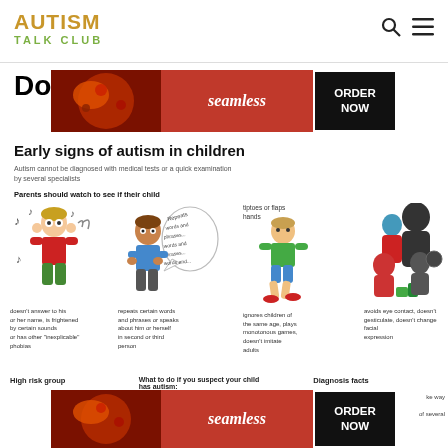AUTISM TALK CLUB
[Figure (infographic): Advertisement banner for Seamless food delivery with pizza image and ORDER NOW button]
Don't...
Early signs of autism in children
Autism cannot be diagnosed with medical tests or a quick examination by several specialists
Parents should watch to see if their child
[Figure (infographic): Four illustrated children showing early autism signs: child covering ears (sound sensitivity), child repeating words/phrases in speech bubble, child walking on tiptoes or flapping hands, silhouettes showing avoidance of eye contact and not gesticulating]
doesn't answer to his or her name, is frightened by certain sounds or has other "inexplicable" phobias
repeats certain words and phrases or speaks about him or herself in second or third person
tiptoes or flaps hands
ignores children of the same age, plays monotonous games, doesn't imitate adults
avoids eye contact, doesn't gesticulate, doesn't change facial expression
High risk group
What to do if you suspect your child has autism:
Diagnosis facts
[Figure (infographic): Second advertisement banner for Seamless with pizza and ORDER NOW button, with CLOSE button]